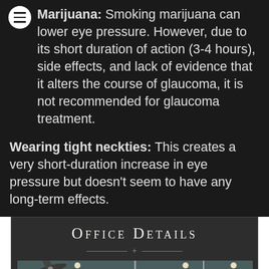Marijuana: Smoking marijuana can lower eye pressure. However, due to its short duration of action (3-4 hours), side effects, and lack of evidence that it alters the course of glaucoma, it is not recommended for glaucoma treatment.
Wearing tight neckties: This creates a very short-duration increase in eye pressure but doesn't seem to have any long-term effects.
Office Details
[Figure (photo): Interior photo of a medical office showing ceiling fixtures, fans, and lighting]